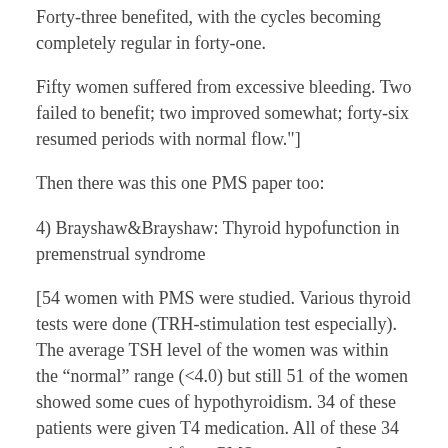Forty-three benefited, with the cycles becoming completely regular in forty-one.
Fifty women suffered from excessive bleeding. Two failed to benefit; two improved somewhat; forty-six resumed periods with normal flow."]”
Then there was this one PMS paper too:
4) Brayshaw&Brayshaw: Thyroid hypofunction in premenstrual syndrome
[54 women with PMS were studied. Various thyroid tests were done (TRH-stimulation test especially). The average TSH level of the women was within the “normal” range (<4.0) but still 51 of the women showed some cues of hypothyroidism. 34 of these patients were given T4 medication. All of these 34 women were cured from PMS symptoms.]